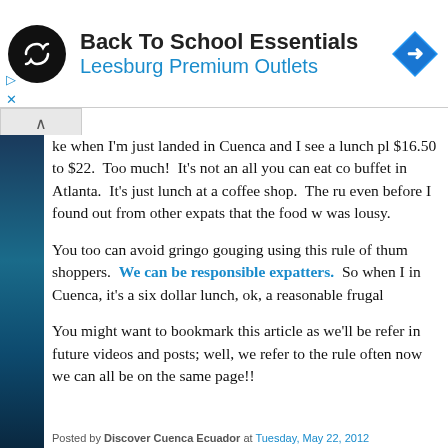[Figure (screenshot): Advertisement banner for Back To School Essentials at Leesburg Premium Outlets. Features a black circular logo with infinity-like symbol on left, blue navigation arrow diamond icon on right, and blue/cyan ad control arrows at bottom-left.]
ke when I'm just landed in Cuenca and I see a lunch pl $16.50 to $22.  Too much!  It's not an all you can eat co buffet in Atlanta.  It's just lunch at a coffee shop.  The ru even before I found out from other expats that the food w was lousy.
You too can avoid gringo gouging using this rule of thum shoppers.  We can be responsible expatters.  So when I in Cuenca, it's a six dollar lunch, ok, a reasonable frugal
You might want to bookmark this article as we'll be refer in future videos and posts; well, we refer to the rule often now we can all be on the same page!!
Posted by Discover Cuenca Ecuador at Tuesday, May 22, 2012